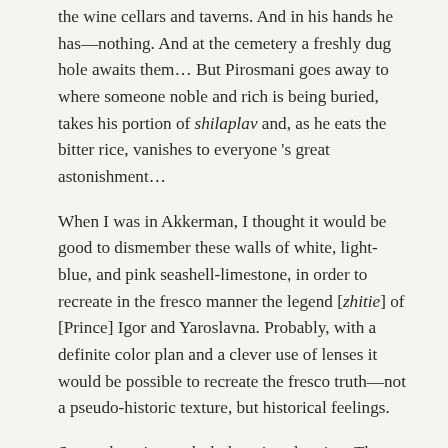the wine cellars and taverns. And in his hands he has—nothing. And at the cemetery a freshly dug hole awaits them… But Pirosmani goes away to where someone noble and rich is being buried, takes his portion of shilaplav and, as he eats the bitter rice, vanishes to everyone 's great astonishment…
When I was in Akkerman, I thought it would be good to dismember these walls of white, light-blue, and pink seashell-limestone, in order to recreate in the fresco manner the legend [zhitie] of [Prince] Igor and Yaroslavna. Probably, with a definite color plan and a clever use of lenses it would be possible to recreate the fresco truth—not a pseudo-historic texture, but historical feelings.
Somewhere in my desk there is a drawing. The cemetery of Pine Lachaise…  Madonnas of all times and of all kinds—hunchbacked, red haired, starched, dark skinned, indigent, scrawny. And suddenly among them,